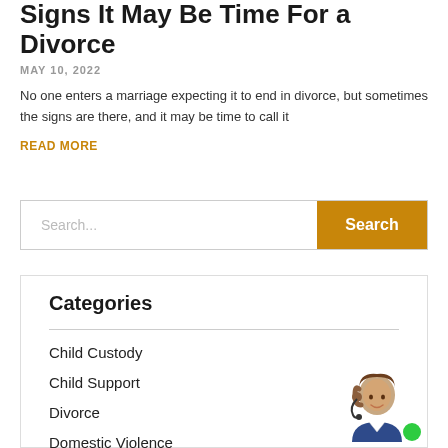Signs It May Be Time For a Divorce
MAY 10, 2022
No one enters a marriage expecting it to end in divorce, but sometimes the signs are there, and it may be time to call it
READ MORE
[Figure (other): Search bar with text input placeholder 'Search...' and an orange 'Search' button]
Categories
Child Custody
Child Support
Divorce
Domestic Violence